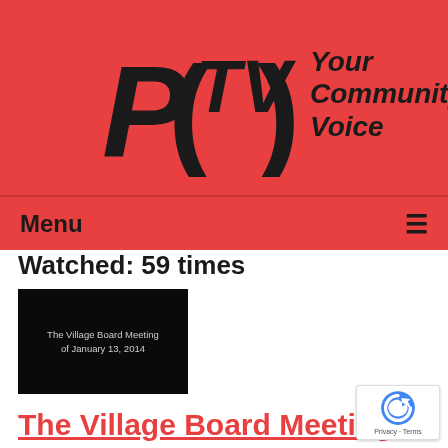[Figure (logo): PCTV logo with text 'Your Community Voice' on a red background]
Menu
Watched: 59 times
[Figure (screenshot): Black thumbnail image showing text: The Village Board Meeting of January 13, 2014]
The Village Board Meeting of 01-13-14
Airdate: 01/13/2014
Watched: 41 times